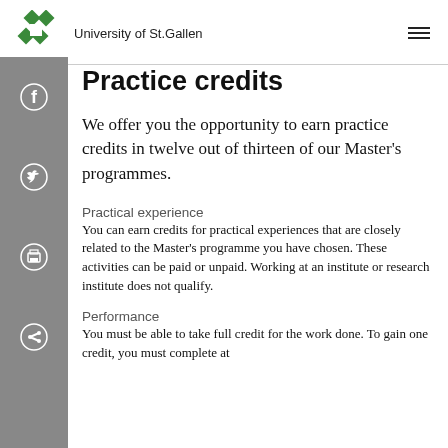University of St.Gallen
[Figure (logo): University of St. Gallen green star logo]
Practice credits
We offer you the opportunity to earn practice credits in twelve out of thirteen of our Master's programmes.
Practical experience
You can earn credits for practical experiences that are closely related to the Master's programme you have chosen. These activities can be paid or unpaid. Working at an institute or research institute does not qualify.
Performance
You must be able to take full credit for the work done. To gain one credit, you must complete at